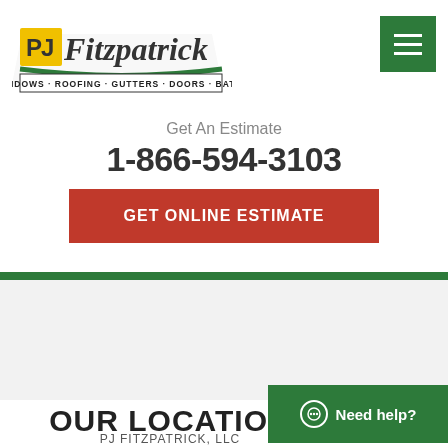[Figure (logo): PJ Fitzpatrick logo with text: WINDOWS · ROOFING · GUTTERS · DOORS · BATHS]
[Figure (other): Green hamburger menu button (three horizontal white lines on green background)]
Get An Estimate
1-866-594-3103
GET ONLINE ESTIMATE
[Figure (other): Light gray rectangular section (map/content area placeholder)]
OUR LOCATION
PJ FITZPATRICK, LLC
[Figure (other): Green 'Need help?' chat button with chat bubble icon]